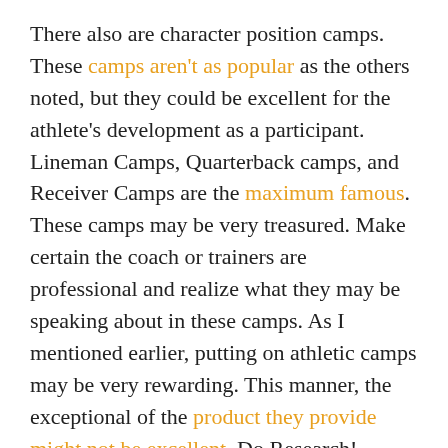There also are character position camps. These camps aren't as popular as the others noted, but they could be excellent for the athlete's development as a participant. Lineman Camps, Quarterback camps, and Receiver Camps are the maximum famous. These camps may be very treasured. Make certain the coach or trainers are professional and realize what they may be speaking about in these camps. As I mentioned earlier, putting on athletic camps may be very rewarding. This manner, the exceptional of the product they provide might not be excellent. Do Research!
Seven on 7 Camps-
The seven-on-seven camps are normally crew camps. These camps can be properly for ability and self-assurance. These camps can even tell the athlete in their ability stage compared to the neighborhood